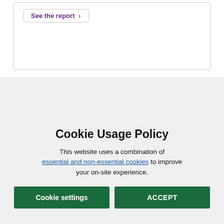See the report >
[Figure (screenshot): Partial view of a webpage with a card box containing a 'See the report >' button in purple, and a gray section below showing a partially visible heading and a blue logo/icon in the top right]
Cookie Usage Policy
This website uses a combination of essential and non-essential cookies to improve your on-site experience.
Cookie settings
ACCEPT